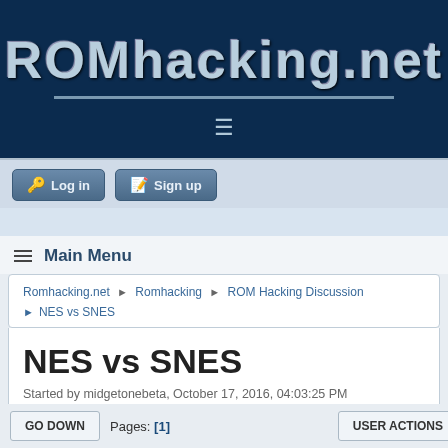ROMhacking.net
Log in  Sign up
≡ Main Menu
Romhacking.net ► Romhacking ► ROM Hacking Discussion ► NES vs SNES
NES vs SNES
Started by midgetonebeta, October 17, 2016, 04:03:25 PM
GO DOWN   Pages: [1]   USER ACTIONS